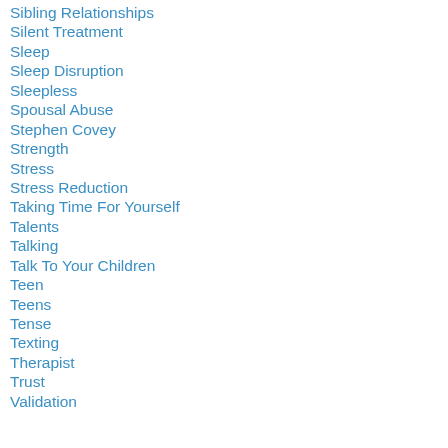Sibling Relationships
Silent Treatment
Sleep
Sleep Disruption
Sleepless
Spousal Abuse
Stephen Covey
Strength
Stress
Stress Reduction
Taking Time For Yourself
Talents
Talking
Talk To Your Children
Teen
Teens
Tense
Texting
Therapist
Trust
Validation